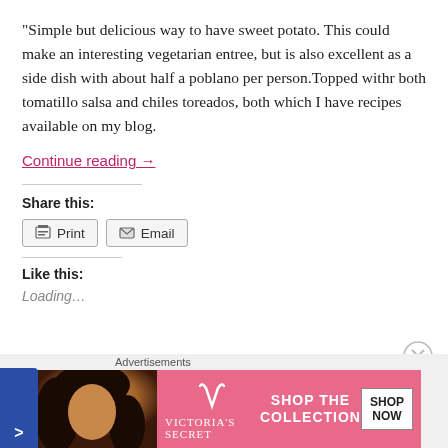“Simple but delicious way to have sweet potato. This could make an interesting vegetarian entree, but is also excellent as a side dish with about half a poblano per person.Topped withr both tomatillo salsa and chiles toreados, both which I have recipes available on my blog.
Continue reading →
Share this:
[Figure (screenshot): Share buttons: Print and Email]
Like this:
Loading...
[Figure (screenshot): Blue sidebar navigation tab with '>' arrow]
[Figure (screenshot): Close/dismiss circle button (X)]
Advertisements
[Figure (photo): Victoria's Secret advertisement banner: woman with curly hair, pink background, 'SHOP THE COLLECTION' text, 'SHOP NOW' button]